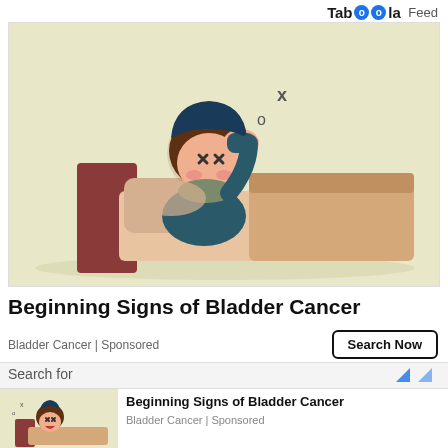Taboola Feed
[Figure (illustration): Cartoon illustration of a man lying in bed looking dizzy/unwell, with 'x' and 'o' symbols above his head indicating dizziness, on a pale yellow-green background]
Beginning Signs of Bladder Cancer
Bladder Cancer | Sponsored
Search Now
Search for
[Figure (illustration): Small thumbnail of same cartoon man in bed illustration]
Beginning Signs of Bladder Cancer
Bladder Cancer | Sponsored